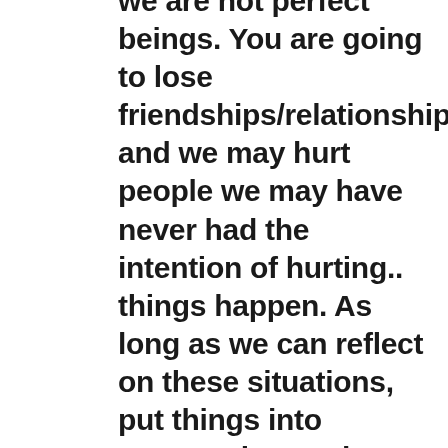we are not perfect beings. You are going to lose friendships/relationships and we may hurt people we may have never had the intention of hurting.. things happen. As long as we can reflect on these situations, put things into perspective, and acknowledge our pasts – we still have the ability to change the outcome from what it previously was. It is important to reflect back on situations and feel the emotions again, whether they are good or bad and it is important to give yourself the ability to feel & be present. Forgive people for hurting you and forgive yourself from hurting other people. You cannot let past experiences eat